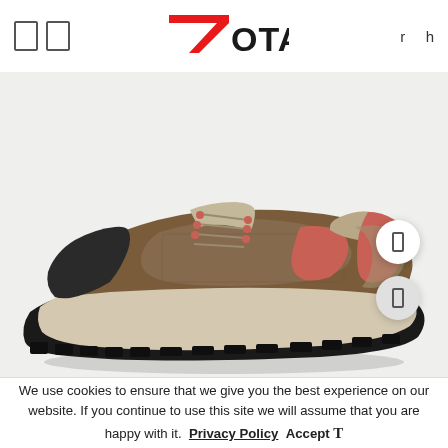7TOTAL  r h
[Figure (photo): Side view of a brown and coral/red hiking shoe with mesh panels and black rubber sole on a light background. Two circular white buttons with arrow icons are overlaid on the right side of the shoe.]
We use cookies to ensure that we give you the best experience on our website. If you continue to use this site we will assume that you are happy with it.  Privacy Policy  Accept T